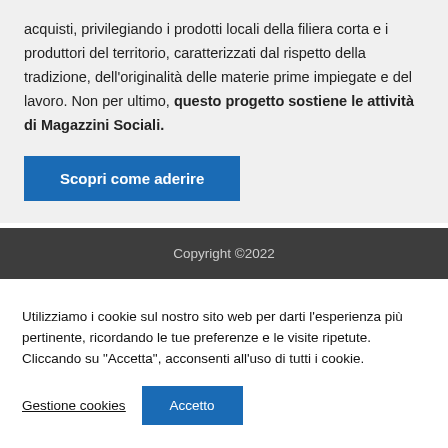acquisti, privilegiando i prodotti locali della filiera corta e i produttori del territorio, caratterizzati dal rispetto della tradizione, dell'originalità delle materie prime impiegate e del lavoro. Non per ultimo, questo progetto sostiene le attività di Magazzini Sociali.
Scopri come aderire
Copyright ©2022
Utilizziamo i cookie sul nostro sito web per darti l'esperienza più pertinente, ricordando le tue preferenze e le visite ripetute. Cliccando su "Accetta", acconsenti all'uso di tutti i cookie.
Gestione cookies
Accetto